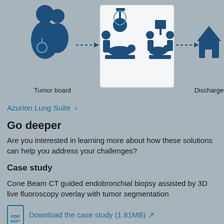[Figure (infographic): Medical workflow infographic showing icons for Tumor board (doctor figure), dotted arrow, surgical/procedure scenes (highlighted in white box), dotted arrow, and Discharge (house icon). Blue icons on gray background.]
Azurion Lung Suite ›
Go deeper
Are you interested in learning more about how these solutions can help you address your challenges?
Case study
Cone Beam CT guided endobronchial biopsy assisted by 3D live fluoroscopy overlay with tumor segmentation
Download the case study (1.81MB) ↗
Study